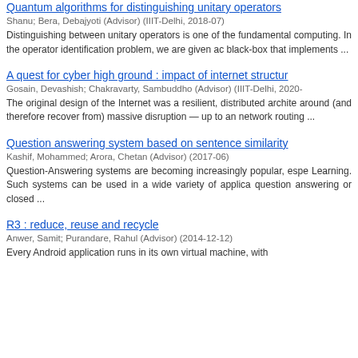Quantum algorithms for distinguishing unitary operators
Shanu; Bera, Debajyoti (Advisor) (IIIT-Delhi, 2018-07)
Distinguishing between unitary operators is one of the fundamental computing. In the operator identification problem, we are given ac black-box that implements ...
A quest for cyber high ground : impact of internet structur
Gosain, Devashish; Chakravarty, Sambuddho (Advisor) (IIIT-Delhi, 2020-
The original design of the Internet was a resilient, distributed archite around (and therefore recover from) massive disruption — up to an network routing ...
Question answering system based on sentence similarity
Kashif, Mohammed; Arora, Chetan (Advisor) (2017-06)
Question-Answering systems are becoming increasingly popular, espe Learning. Such systems can be used in a wide variety of applica question answering or closed ...
R3 : reduce, reuse and recycle
Anwer, Samit; Purandare, Rahul (Advisor) (2014-12-12)
Every Android application runs in its own virtual machine, with